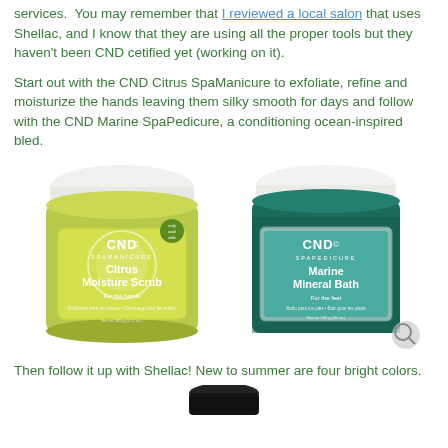services. You may remember that I reviewed a local salon that uses Shellac, and I know that they are using all the proper tools but they haven't been CND cetified yet (working on it).
Start out with the CND Citrus SpaManicure to exfoliate, refine and moisturize the hands leaving them silky smooth for days and follow with the CND Marine SpaPedicure, a conditioning ocean-inspired bled.
[Figure (photo): Two CND product jars: on the left, CND SpaManicure Citrus Moisture Scrub for the hands (yellow-green jar); on the right, CND SpaPedicure Marine Mineral Bath for the feet (teal/dark green jar).]
Then follow it up with Shellac! New to summer are four bright colors.